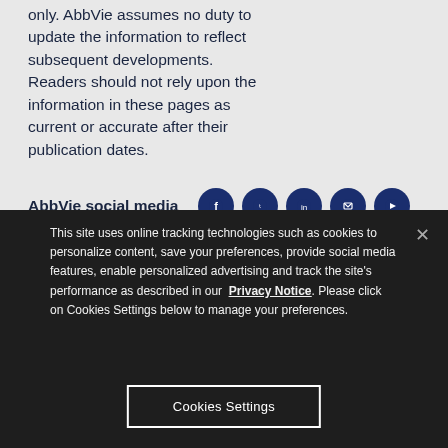only. AbbVie assumes no duty to update the information to reflect subsequent developments. Readers should not rely upon the information in these pages as current or accurate after their publication dates.
AbbVie social media
This site uses online tracking technologies such as cookies to personalize content, save your preferences, provide social media features, enable personalized advertising and track the site's performance as described in our Privacy Notice. Please click on Cookies Settings below to manage your preferences.